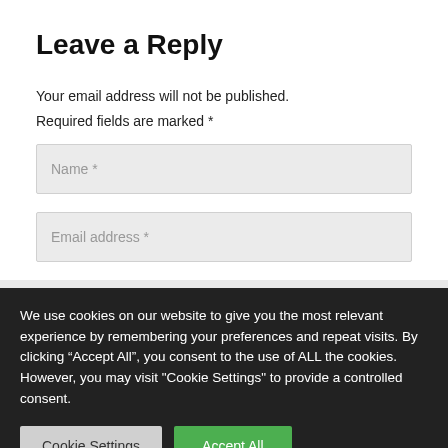Leave a Reply
Your email address will not be published.
Required fields are marked *
Name *
Email address *
We use cookies on our website to give you the most relevant experience by remembering your preferences and repeat visits. By clicking “Accept All”, you consent to the use of ALL the cookies. However, you may visit "Cookie Settings" to provide a controlled consent.
Cookie Settings
Accept All